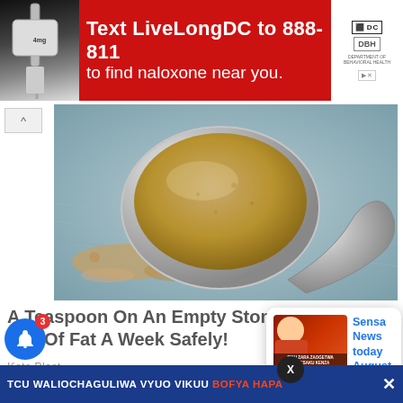[Figure (screenshot): Red advertisement banner: 'Text LiveLongDC to 888-811 to find naloxone near you.' with DC and DBH logos]
[Figure (photo): Close-up photo of a metal spoon filled with brown powder (ground spice), with scattered powder on a grey surface]
A Teaspoon On An Empty Stomach Burns 12 Lbs Of Fat A Week Safely!
Keto Blast
[Figure (screenshot): Notification popup card showing 'Sensa News today August 29, 2022 | NBS' with '3 minutes ago' and a thumbnail of a Swahili news segment]
TCU WALIOCHAGULIWA VYUO VIKUU BOFYA HAPA